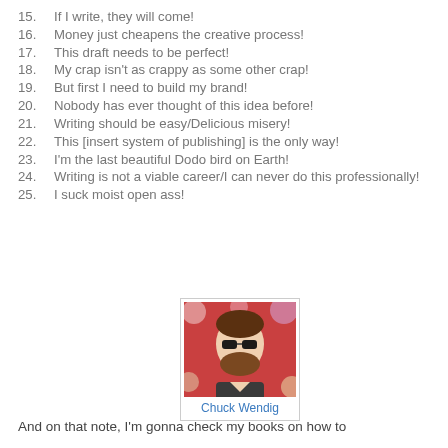15. If I write, they will come!
16. Money just cheapens the creative process!
17. This draft needs to be perfect!
18. My crap isn't as crappy as some other crap!
19. But first I need to build my brand!
20. Nobody has ever thought of this idea before!
21. Writing should be easy/Delicious misery!
22. This [insert system of publishing] is the only way!
23. I'm the last beautiful Dodo bird on Earth!
24. Writing is not a viable career/I can never do this professionally!
25. I suck moist open ass!
[Figure (photo): Photo of Chuck Wendig, a man with sunglasses and a beard, against a floral background]
Chuck Wendig
And on that note, I'm gonna check my books on how to